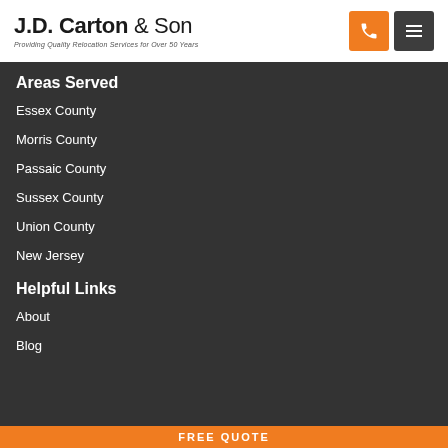J.D. Carton & Son — Providing Quality Relocation Services for Over 50 Years
Areas Served
Essex County
Morris County
Passaic County
Sussex County
Union County
New Jersey
Helpful Links
About
Blog
FREE QUOTE